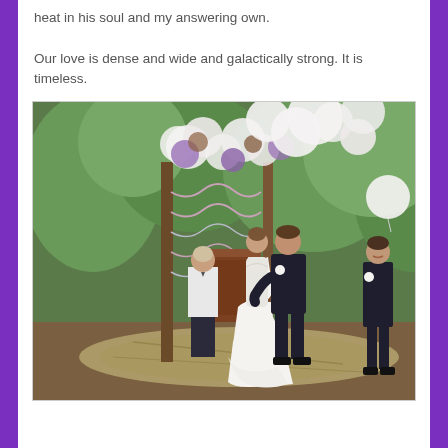heat in his soul and my answering own.

Our love is dense and wide and galactically strong. It is timeless.
[Figure (photo): Outdoor wedding ceremony photo showing a bride in a white dress and groom in a dark suit sharing a kiss at the altar, with an officiant at a wooden podium and a groomsman standing to the right. The backdrop features white and purple paper flowers and balloons, surrounded by green trees.]